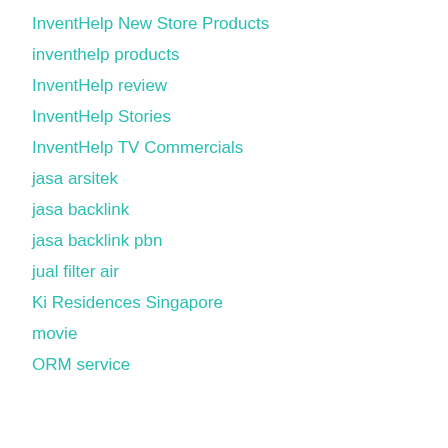InventHelp New Store Products
inventhelp products
InventHelp review
InventHelp Stories
InventHelp TV Commercials
jasa arsitek
jasa backlink
jasa backlink pbn
jual filter air
Ki Residences Singapore
movie
ORM service